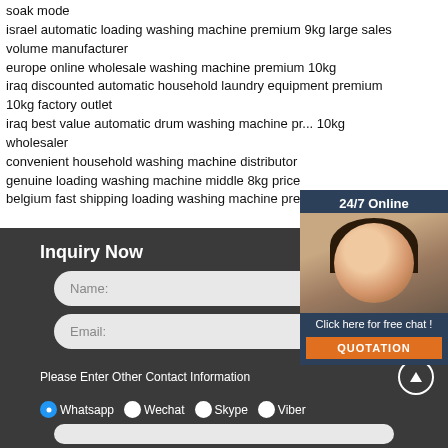soak mode
israel automatic loading washing machine premium 9kg large sales volume manufacturer
europe online wholesale washing machine premium 10kg
iraq discounted automatic household laundry equipment premium 10kg factory outlet
iraq best value automatic drum washing machine premium 10kg wholesaler
convenient household washing machine distributor
genuine loading washing machine middle 8kg price
belgium fast shipping loading washing machine premium distributor
[Figure (photo): Customer service agent woman with headset, 24/7 Online chat widget with QUOTATION button]
Inquiry Now
Name:
Email:
Please Enter Other Contact Information
Whatsapp
Wechat
Skype
Viber